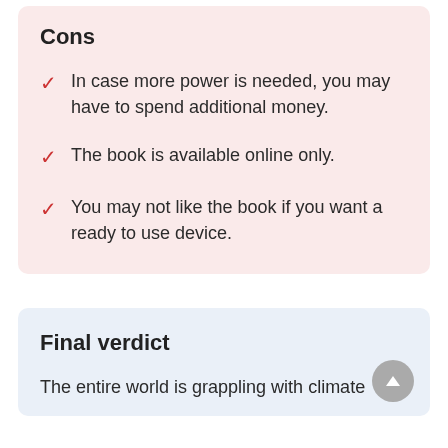Cons
In case more power is needed, you may have to spend additional money.
The book is available online only.
You may not like the book if you want a ready to use device.
Final verdict
The entire world is grappling with climate